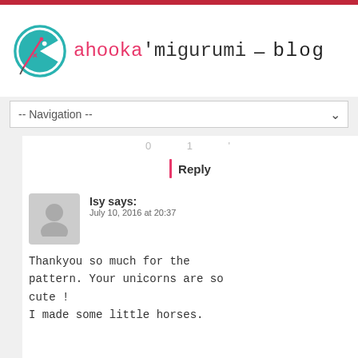ahooka'migurumi – blog
-- Navigation --
Reply
Isy says:
July 10, 2016 at 20:37
Thankyou so much for the pattern. Your unicorns are so cute !
I made some little horses.
Reply
Ahooka says:
July 11, 2016 at 11:06
Cool ! My pleasure :) Feel